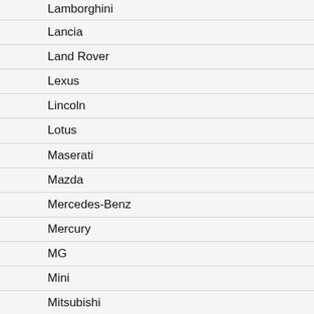Lamborghini
Lancia
Land Rover
Lexus
Lincoln
Lotus
Maserati
Mazda
Mercedes-Benz
Mercury
MG
Mini
Mitsubishi
Nash
Nissan
Oldsmobile
Opel
Other Makes
Packard